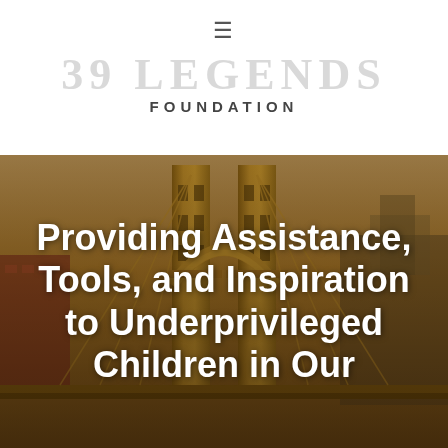≡
39 LEGENDS FOUNDATION
[Figure (photo): Pittsburgh bridge (Roberto Clemente Bridge / Andy Warhol Bridge) golden steel arch towers against a warm orange-brown sky, with city buildings visible in the background. Serves as hero background image.]
Providing Assistance, Tools, and Inspiration to Underprivileged Children in Our Community